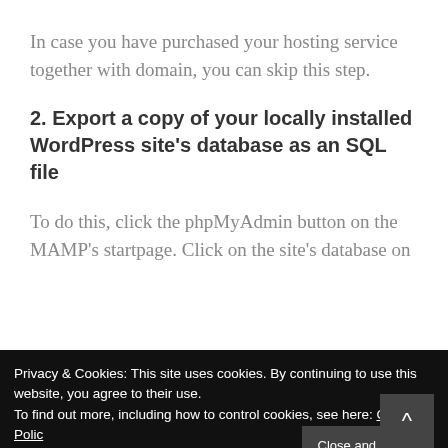In case you have purchased your hosting service together with domain, you can skip this step.
2. Export a copy of your locally installed WordPress site's database as an SQL file
To do this, click the phpMyAdmin button on the MAMP's startpage. Click on the site's database on
Privacy & Cookies: This site uses cookies. By continuing to use this website, you agree to their use.
To find out more, including how to control cookies, see here: Cookie Policy
Close and accept